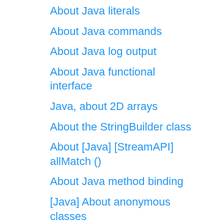About Java literals
About Java commands
About Java log output
About Java functional interface
Java, about 2D arrays
About the StringBuilder class
About [Java] [StreamAPI] allMatch ()
About Java method binding
[Java] About anonymous classes
About method splitting (Java)
Java inner class review
[Java] About...